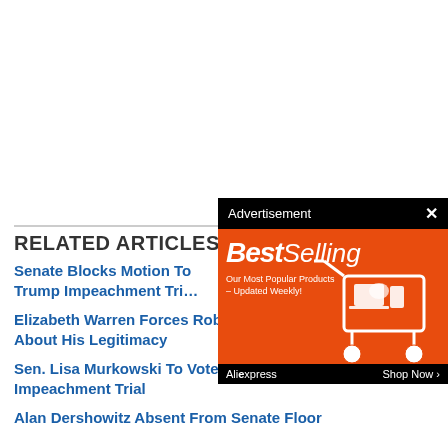RELATED ARTICLES
[Figure (screenshot): Advertisement overlay with 'BestSelling' banner from AliExpress showing shopping cart and products on orange background]
Senate Blocks Motion To Trump Impeachment Tri
Elizabeth Warren Forces Roberts To Read Aloud Question About His Legitimacy
Sen. Lisa Murkowski To Vote Against Calling Witnesses In Impeachment Trial
Alan Dershowitz Absent From Senate Floor